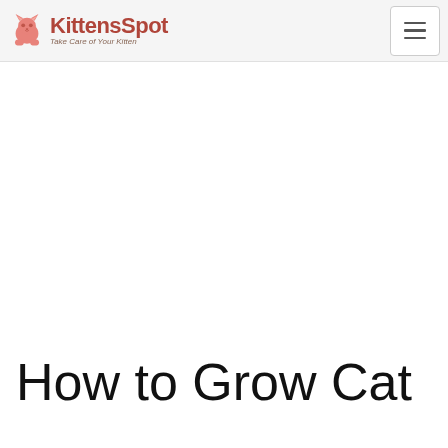KittensSpot — Take Care of Your Kitten
How to Grow Cat